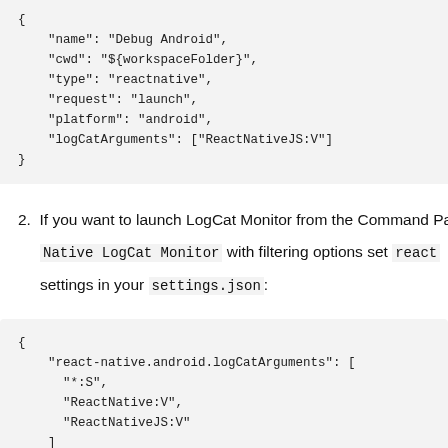{
    "name": "Debug Android",
    "cwd": "${workspaceFolder}",
    "type": "reactnative",
    "request": "launch",
    "platform": "android",
    "logCatArguments": ["ReactNativeJS:V"]
}
2. If you want to launch LogCat Monitor from the Command Pa... Native LogCat Monitor with filtering options set react... settings in your settings.json:
{
    "react-native.android.logCatArguments": [
      "*:S",
      "ReactNative:V",
      "ReactNativeJS:V"
    ]
}
To have better understanding on how LogCat filtering works take in... with flag -S and then adds user-provided filters as arguments. Pleas...